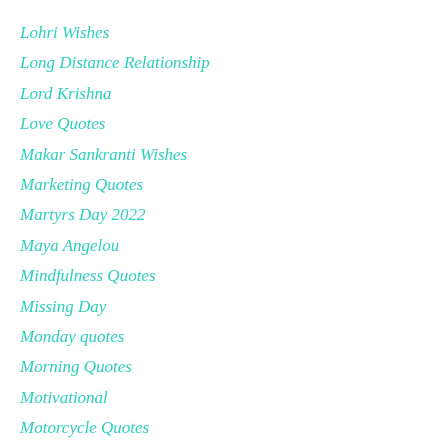Lohri Wishes
Long Distance Relationship
Lord Krishna
Love Quotes
Makar Sankranti Wishes
Marketing Quotes
Martyrs Day 2022
Maya Angelou
Mindfulness Quotes
Missing Day
Monday quotes
Morning Quotes
Motivational
Motorcycle Quotes